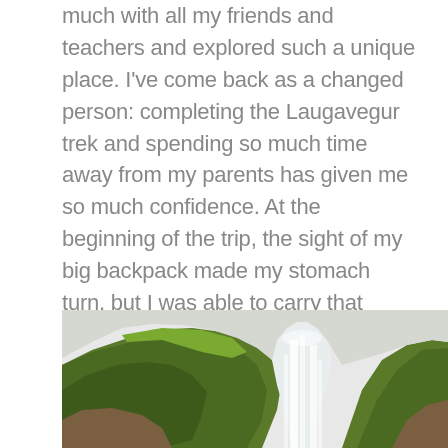much with all my friends and teachers and explored such a unique place. I've come back as a changed person: completing the Laugavegur trek and spending so much time away from my parents has given me so much confidence. At the beginning of the trip, the sight of my big backpack made my stomach turn, but I was able to carry that backpack for fifty-five kilometers as I hiked through mountains. I never imagined I could do something like that before, but now that I've done it, I'm so eager to try new things, because I learned that you never really know what you're capable of until you've done it.
[Figure (photo): A landscape photo showing green mossy cliffs and a tall waterfall cascading down between rocky terrain, partially cropped at the bottom of the page.]